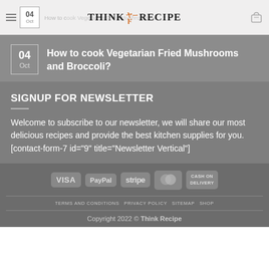THINK RECIPE — How to cook Vegetarian Fried Mushrooms and Broccoli?
How to cook Vegetarian Fried Mushrooms and Broccoli?
SIGNUP FOR NEWSLETTER
Welcome to subscribe to our newsletter, we will share our most delicious recipes and provide the best kitchen supplies for you. [contact-form-7 id="9" title="Newsletter Vertical"]
VISA PayPal stripe MasterCard CASH ON DELIVERY — TERMS AND CONDITIONS  PRIVACY POLICY  SITEMAP  SHOP — Copyright 2022 © Think Recipe